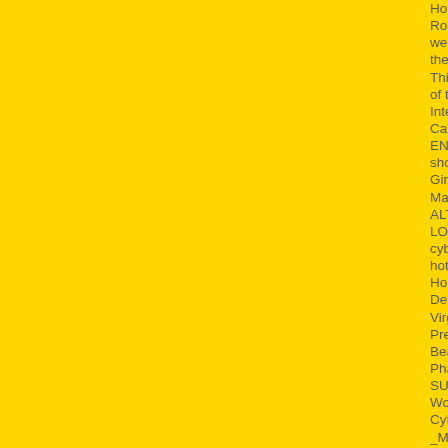Hot To Trot JiMmY RocKeR Shopping mall web RocKeR Web E Shopping mall! Freaky Deaky websites. MOTIVATION Gonna Rock Your Frea the JiMmY RocKeR Web e business mall onlin Thinketh Dream Weaver Begin Magic Spell wit of the Ancients SCHEMATICA Inquire at the Ji Internet stores web e shopping mall. DYNAMI Can Fire Your Shit Up at the JiMmY RocKeR W ENERGY SOURCE Girls! Girls! Girls! HOT BO shopping mall. Satisfy Your URGE! GuRGLE G Girls! Beautiful Girls Bending Over Teasing and Magic Spell with the Picatrix Astral Travel Spin ALTERED STATE OF PERCEPTION +World's- LOOKOUT WEEKEND -=- Debbie Deb +=+wo cybermall <FIREPOWER> Jimmy Rocker Mall hottest cybermall YEAH BABY -=- NO MORE B Horoscopes Rising Sign Daily Horoscope Astro Demonic Spell Astrological Love Advice Relati Virgo Libra Scorpio White Witch Spells Horosc Prediction Aquarius Pisces Sun Moon Mercury Beast Altar Daily Horoscope Ancient Prophecie Phantasm The Other Glamour Santeria Ouiji V SUPERSTORM jimmy + rocker+mall SHIMME World's Hottest Cybermall -=- JiMmY RocKeR CyBeRMaLL > MONTAGE of ROTATING IMAG _Mall _WoRLD's _HoTTeST _CyBeRMaLL > J +WoRLDs +HoTTeST +CyBeRMaLL > --= Jimm -=- ::::: Web ::::: Dating ::::: Matchmaking ::::: Ho SLIDE <CARNIVORE> Pleasure Junkie LOVE Rocker Toys & Games Food and Drink Person